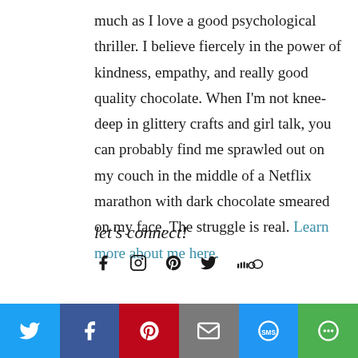much as I love a good psychological thriller. I believe fiercely in the power of kindness, empathy, and really good quality chocolate. When I'm not knee-deep in glittery crafts and girl talk, you can probably find me sprawled out on my couch in the middle of a Netflix marathon with dark chocolate smeared on my face. The struggle is real. Learn more about me here.
let's connect!
[Figure (infographic): Social media icons: Facebook, Instagram, Pinterest, Twitter, SoundCloud]
[Figure (infographic): Share bar with Twitter, Facebook, Pinterest, Email, SMS, and More buttons]